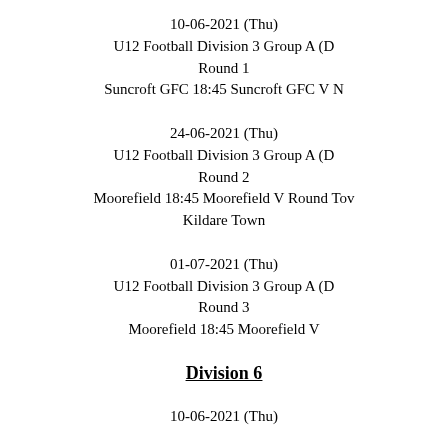10-06-2021 (Thu)
U12 Football Division 3 Group A (D
Round 1
Suncroft GFC 18:45 Suncroft GFC V N
24-06-2021 (Thu)
U12 Football Division 3 Group A (D
Round 2
Moorefield 18:45 Moorefield V Round Tov
Kildare Town
01-07-2021 (Thu)
U12 Football Division 3 Group A (D
Round 3
Moorefield 18:45 Moorefield V
Division 6
10-06-2021 (Thu)